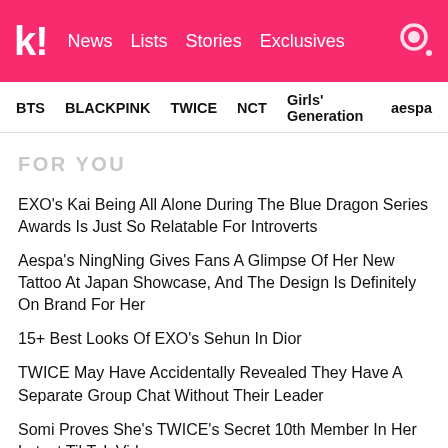koreaboo | News  Lists  Stories  Exclusives
BTS  BLACKPINK  TWICE  NCT  Girls' Generation  aespa
FOR YOU
EXO's Kai Being All Alone During The Blue Dragon Series Awards Is Just So Relatable For Introverts
Aespa's NingNing Gives Fans A Glimpse Of Her New Tattoo At Japan Showcase, And The Design Is Definitely On Brand For Her
15+ Best Looks Of EXO's Sehun In Dior
TWICE May Have Accidentally Revealed They Have A Separate Group Chat Without Their Leader
Somi Proves She's TWICE's Secret 10th Member In Her Latest TikTok Video